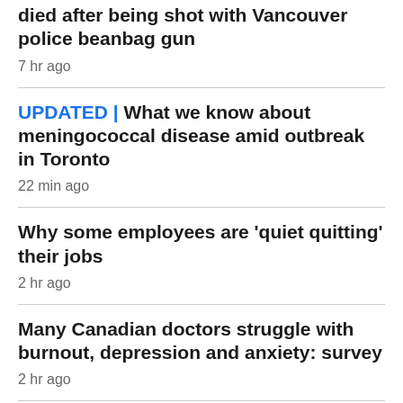died after being shot with Vancouver police beanbag gun
7 hr ago
UPDATED | What we know about meningococcal disease amid outbreak in Toronto
22 min ago
Why some employees are 'quiet quitting' their jobs
2 hr ago
Many Canadian doctors struggle with burnout, depression and anxiety: survey
2 hr ago
Ultra-processed food linked to worse mental health, study finds